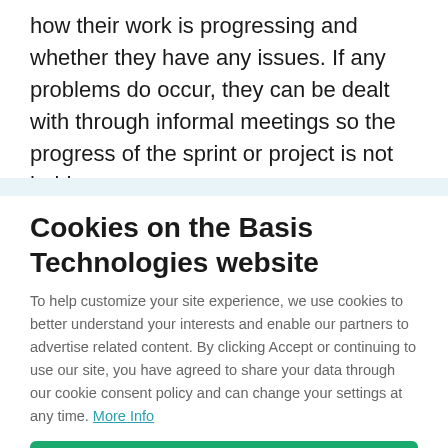how their work is progressing and whether they have any issues. If any problems do occur, they can be dealt with through informal meetings so the progress of the sprint or project is not held up.
Cookies on the Basis Technologies website
To help customize your site experience, we use cookies to better understand your interests and enable our partners to advertise related content. By clicking Accept or continuing to use our site, you have agreed to share your data through our cookie consent policy and can change your settings at any time. More Info
I AGREE